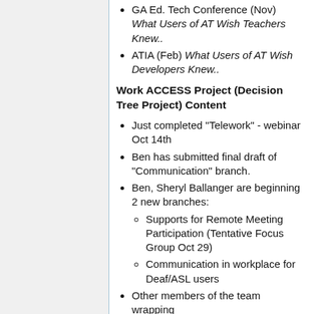GA Ed. Tech Conference (Nov) What Users of AT Wish Teachers Knew..
ATIA (Feb) What Users of AT Wish Developers Knew..
Work ACCESS Project (Decision Tree Project) Content
Just completed "Telework" - webinar Oct 14th
Ben has submitted final draft of "Communication" branch.
Ben, Sheryl Ballanger are beginning 2 new branches:
Supports for Remote Meeting Participation (Tentative Focus Group Oct 29)
Communication in workplace for Deaf/ASL users
Other members of the team wrapping